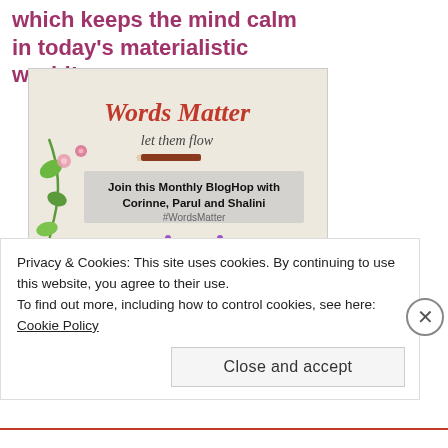which keeps the mind calm in today's materialistic world!
[Figure (illustration): Words Matter blog hop promotional image with decorative butterfly, floral vines, text 'Words Matter let them flow', and 'Join this Monthly BlogHop with Corinne, Parul and Shalini #WordsMatter']
Privacy & Cookies: This site uses cookies. By continuing to use this website, you agree to their use.
To find out more, including how to control cookies, see here: Cookie Policy
Close and accept